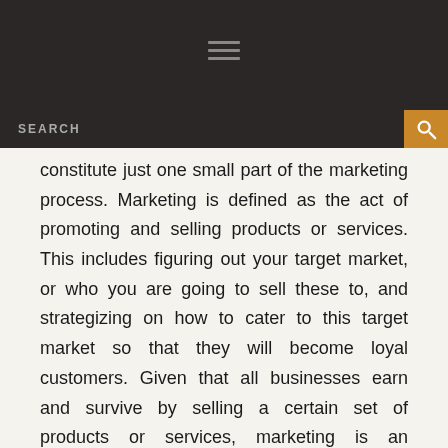SEARCH
constitute just one small part of the marketing process. Marketing is defined as the act of promoting and selling products or services. This includes figuring out your target market, or who you are going to sell these to, and strategizing on how to cater to this target market so that they will become loyal customers. Given that all businesses earn and survive by selling a certain set of products or services, marketing is an essential part of any company, even companies in the manufacturing industry.
The primary difference between the flashy